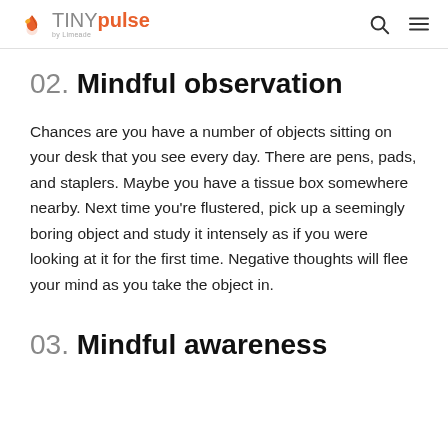TINYpulse by Limeade
02. Mindful observation
Chances are you have a number of objects sitting on your desk that you see every day. There are pens, pads, and staplers. Maybe you have a tissue box somewhere nearby. Next time you're flustered, pick up a seemingly boring object and study it intensely as if you were looking at it for the first time. Negative thoughts will flee your mind as you take the object in.
03. Mindful awareness